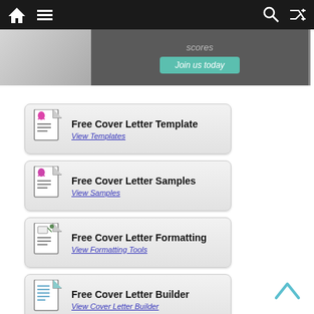Navigation bar with home, menu, search, and shuffle icons
[Figure (screenshot): Banner with partial image of person, 'scores' text, and 'Join us today' teal button]
Free Cover Letter Template — View Templates
Free Cover Letter Samples — View Samples
Free Cover Letter Formatting — View Formatting Tools
Free Cover Letter Builder — View Cover Letter Builder